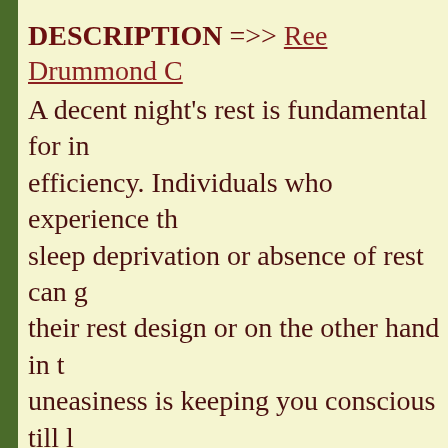DESCRIPTION =>> Ree Drummond C...
A decent night's rest is fundamental for i... efficiency. Individuals who experience th... sleep deprivation or absence of rest can g... their rest design or on the other hand in t... uneasiness is keeping you conscious till l... Gummies is one product you ought to att...
OFFICIAL WEBSITE =>>
https://www.outlookindia.com/outlook-sp drummond-cbd-gummies-shocking-shark- alert-news-206907